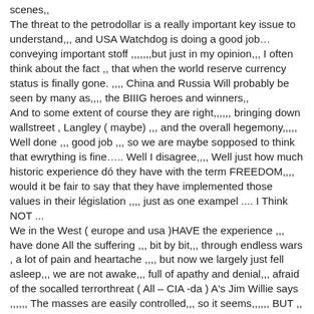scenes,, The threat to the petrodollar is a really important key issue to understand,,, and USA Watchdog is doing a good job… conveying important stoff ,,,,,,,but just in my opinion,,, I often think about the fact ,, that when the world reserve currency status is finally gone. ,,,, China and Russia Will probably be seen by many as,,,, the BIIIG heroes and winners,,
And to some extent of course they are right,,,,,, bringing down wallstreet , Langley ( maybe) ,,, and the overall hegemony,,,,,
Well done ,,, good job ,,, so we are maybe sopposed to think that ewrything is fine….. Well I disagree,,,, Well just how much historic experience dó they have with the term FREEDOM,,,, would it be fair to say that they have implemented those values in their législation ,,,, just as one exampel .... I Think NOT ...
We in the West ( europe and usa )HAVE the experience ,,, have done All the suffering ,,, bit by bit,,, through endless wars , a lot of pain and heartache ,,,, but now we largely just fell asleep,,, we are not awake,,, full of apathy and denial,,, afraid of the socalled terrorthreat ( All – CIA -da ) A's Jim Willie says ,,,,,, The masses are easily controlled,,, so it seems,,,,,, BUT ,, I just Think that ,,,, at a very late stage more people will wake up,,,
In Europe and USA ,,, because of the very valueabel